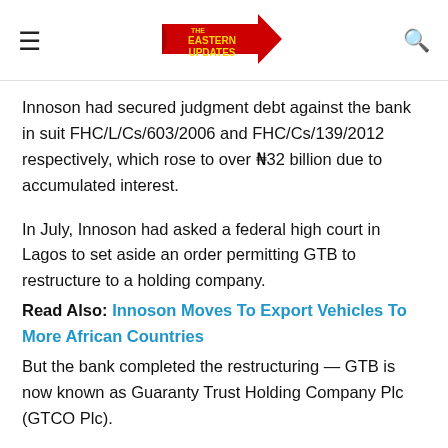THE EASTERN UPDATES (logo with hamburger menu and search icon)
Innoson had secured judgment debt against the bank in suit FHC/L/Cs/603/2006 and FHC/Cs/139/2012 respectively, which rose to over ₦32 billion due to accumulated interest.
In July, Innoson had asked a federal high court in Lagos to set aside an order permitting GTB to restructure to a holding company.
Read Also: Innoson Moves To Export Vehicles To More African Countries
But the bank completed the restructuring — GTB is now known as Guaranty Trust Holding Company Plc (GTCO Plc).
The billionaire businessman, at the media briefing, recounted that his relationship with the bank had been extremely